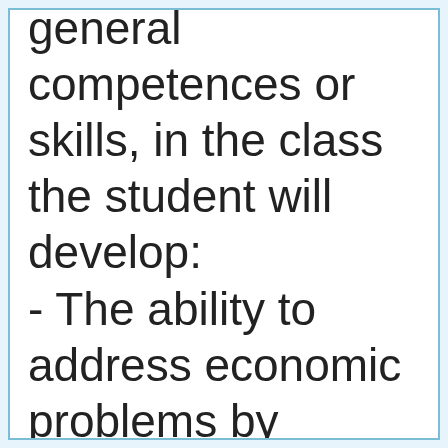general competences or skills, in the class the student will develop: - The ability to address economic problems by means of abstract